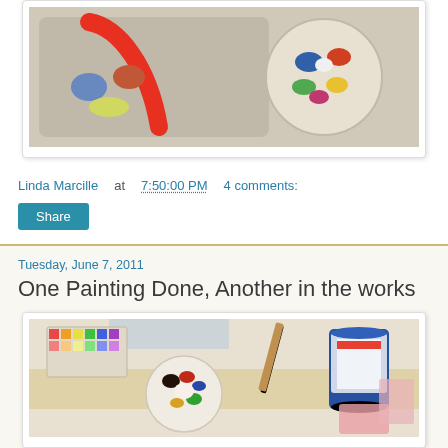[Figure (photo): Photo of painting supplies — a paint palette and artist supplies on a tray with a circular palette]
Linda Marcille at 7:50:00 PM    4 comments:
Share
Tuesday, June 7, 2011
One Painting Done, Another in the works
[Figure (photo): Photo of artist workspace with paint palette, art supplies, color swatches, and a can of white liquid]